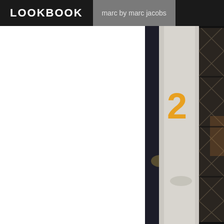LOOKBOOK  marc by marc jacobs
[Figure (photo): Photo of a white pillar or column with a large orange number '2' painted on it, flanked by dark metal frame structures with diamond/grid pattern, taken indoors at night.]